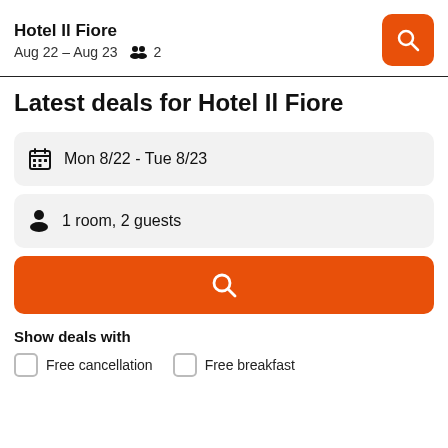Hotel Il Fiore
Aug 22 – Aug 23  2
Latest deals for Hotel Il Fiore
Mon 8/22 - Tue 8/23
1 room, 2 guests
Show deals with
Free cancellation
Free breakfast